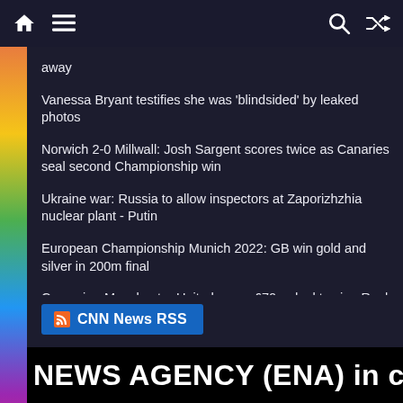Navigation bar with home, menu, search, and shuffle icons
away
Vanessa Bryant testifies she was 'blindsided' by leaked photos
Norwich 2-0 Millwall: Josh Sargent scores twice as Canaries seal second Championship win
Ukraine war: Russia to allow inspectors at Zaporizhzhia nuclear plant - Putin
European Championship Munich 2022: GB win gold and silver in 200m final
Casemiro: Manchester United agree £70m deal to sign Real Madrid midfielder
CNN News RSS
N NEWS AGENCY (ENA) in colla